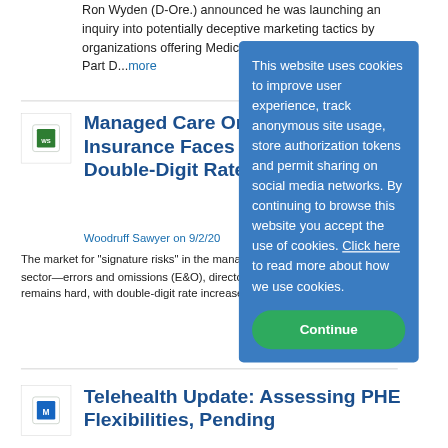Ron Wyden (D-Ore.) announced he was launching an inquiry into potentially deceptive marketing tactics by organizations offering Medicare Advantage benefits and Part D...more
[Figure (logo): Woodruff Sawyer logo - green square with WS text]
Managed Care Organization (MCO) Insurance Faces Another Year of Double-Digit Rate Increases
Woodruff Sawyer on 9/2/20
The market for “signature risks” in the managed care organization (MCO) sector—errors and omissions (E&O), directors and officers (D&O)—remains hard, with double-digit rate increases the norm for the fifth...more
[Figure (logo): Blue square logo with letter M]
Telehealth Update: Assessing PHE Flexibilities, Pending
This website uses cookies to improve user experience, track anonymous site usage, store authorization tokens and permit sharing on social media networks. By continuing to browse this website you accept the use of cookies. Click here to read more about how we use cookies. Continue